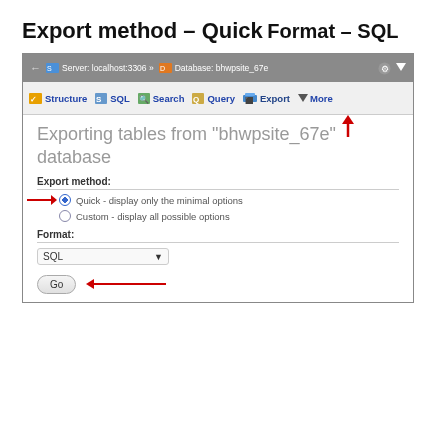Export method – Quick
Format – SQL
[Figure (screenshot): phpMyAdmin browser screenshot showing the Export tab selected with Export method set to Quick and Format set to SQL, with a Go button at the bottom. Red arrows point to the Export tab, the Quick radio button, and the Go button.]